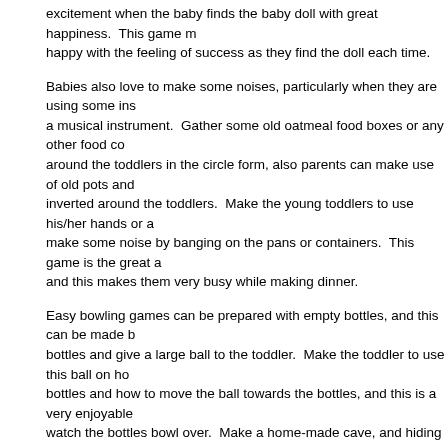excitement when the baby finds the baby doll with great happiness. This game makes them happy with the feeling of success as they find the doll each time.
Babies also love to make some noises, particularly when they are using some instruments like a musical instrument. Gather some old oatmeal food boxes or any other food containers and place around the toddlers in the circle form, also parents can make use of old pots and pans that are inverted around the toddlers. Make the young toddlers to use his/her hands or any drumstick to make some noise by banging on the pans or containers. This game is the great activity for parents and this makes them very busy while making dinner.
Easy bowling games can be prepared with empty bottles, and this can be made by filling the bottles and give a large ball to the toddler. Make the toddler to use this ball on how to hit the bottles and how to move the ball towards the bottles, and this is a very enjoyable game for them to watch the bottles bowl over. Make a home-made cave, and hiding out in a do-it-yourself cave with their parents, can be a lot of excitement for them. The home-made cave can be made by placing blanket over any kitchen table or push two small couches together and cover it with the blanket and thus cave is made. Young toddlers always love to express themselves, just put on a musical track, and get down on the knees and dance with the child, because expensive toys cannot give enjoyment in the toddlers face.